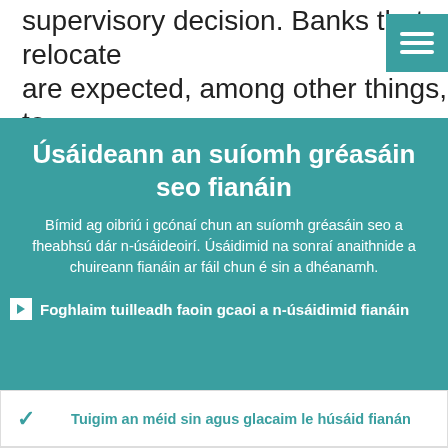supervisory decision. Banks that relocate are expected, among other things, to conduct real operational activity, have
Úsáideann an suíomh gréasáin seo fianáin
Bímid ag oibriú i gcónaí chun an suíomh gréasáin seo a fheabhsú dár n-úsáideoirí. Úsáidimid na sonraí anaithnide a chuireann fianáin ar fáil chun é sin a dhéanamh.
Foghlaim tuilleadh faoin gcaoi a n-úsáidimid fianáin
Tuigim an méid sin agus glacaim le húsáid fianán
Ní ghlacaim le húsáid fianán